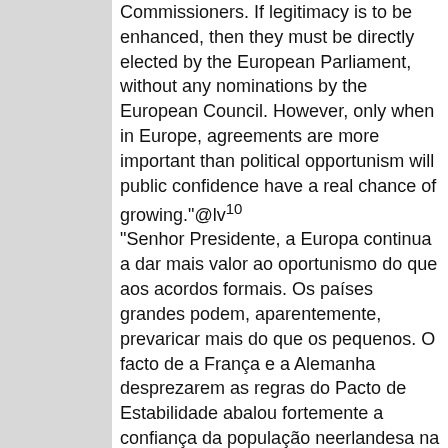Commissioners. If legitimacy is to be enhanced, then they must be directly elected by the European Parliament, without any nominations by the European Council. However, only when in Europe, agreements are more important than political opportunism will public confidence have a real chance of growing."@lv¹⁰ "Senhor Presidente, a Europa continua a dar mais valor ao oportunismo do que aos acordos formais. Os países grandes podem, aparentemente, prevaricar mais do que os pequenos. O facto de a França e a Alemanha desprezarem as regras do Pacto de Estabilidade abalou fortemente a confiança da população neerlandesa na União Europeia. O cidadão comum pergunta-se por que motivo deveremos apoiar um novo pacto se não houver certeza de que as regras são cumpridas.